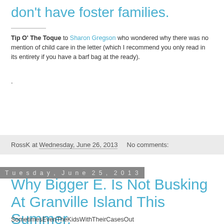don't have foster families.
Tip O' The Toque to Sharon Gregson who wondered why there was no mention of child care in the letter (which I recommend you only read in its entirety if you have a barf bag at the ready).
.
RossK at Wednesday, June 26, 2013    No comments:
Tuesday, June 25, 2013
Why Bigger E. Is Not Busking At Granville Island This Summer.
SometimesEvenTheKidsWithTheirCasesOut
HaveToTakeAStandVille